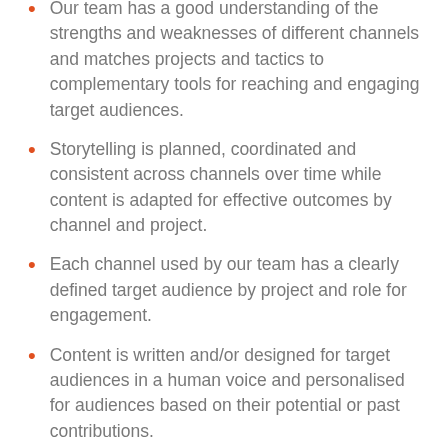Our team has a good understanding of the strengths and weaknesses of different channels and matches projects and tactics to complementary tools for reaching and engaging target audiences.
Storytelling is planned, coordinated and consistent across channels over time while content is adapted for effective outcomes by channel and project.
Each channel used by our team has a clearly defined target audience by project and role for engagement.
Content is written and/or designed for target audiences in a human voice and personalised for audiences based on their potential or past contributions.